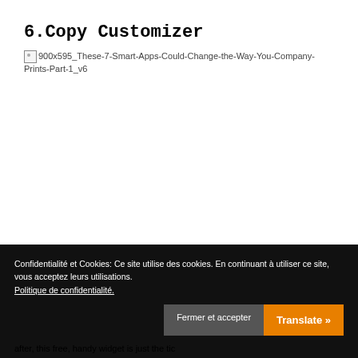6.Copy Customizer
[Figure (other): Broken image placeholder with filename: 900x595_These-7-Smart-Apps-Could-Change-the-Way-You-Company-Prints-Part-1_v6]
•
Confidentialité et Cookies: Ce site utilise des cookies. En continuant à utiliser ce site, vous acceptez leurs utilisations. Politique de confidentialité.
Fermer et accepter
Translate »
after, this free, handy widget is just the tic